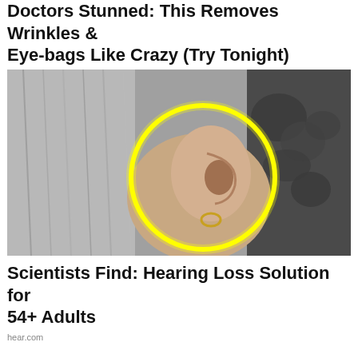Doctors Stunned: This Removes Wrinkles & Eye-bags Like Crazy (Try Tonight)
Trending New Finds
[Figure (photo): Black and white photo of the back of a person's head showing their ear with a small hoop earring and grey hair, with a yellow circle highlighting the ear area. Background shows blurred foliage.]
Scientists Find: Hearing Loss Solution for 54+ Adults
hear.com